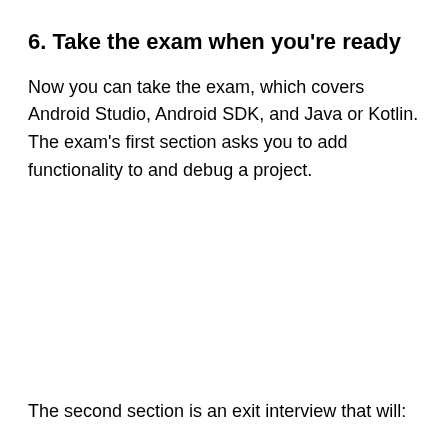6. Take the exam when you're ready
Now you can take the exam, which covers Android Studio, Android SDK, and Java or Kotlin. The exam's first section asks you to add functionality to and debug a project.
The second section is an exit interview that will: